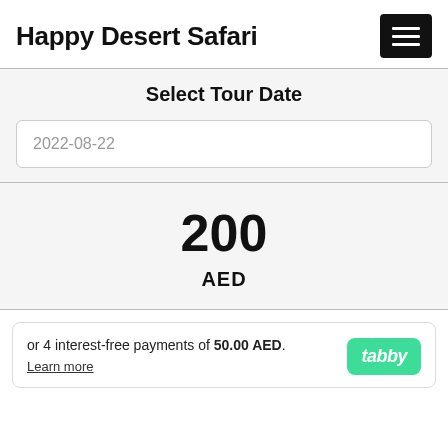Happy Desert Safari
Select Tour Date
2022-08-22
200
AED
or 4 interest-free payments of 50.00 AED. Learn more